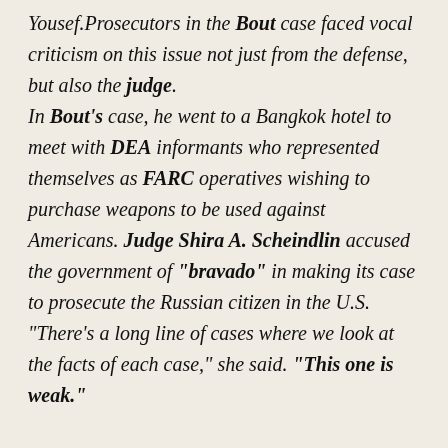Yousef.Prosecutors in the Bout case faced vocal criticism on this issue not just from the defense, but also the judge. In Bout's case, he went to a Bangkok hotel to meet with DEA informants who represented themselves as FARC operatives wishing to purchase weapons to be used against Americans. Judge Shira A. Scheindlin accused the government of "bravado" in making its case to prosecute the Russian citizen in the U.S. "There's a long line of cases where we look at the facts of each case," she said. "This one is weak."